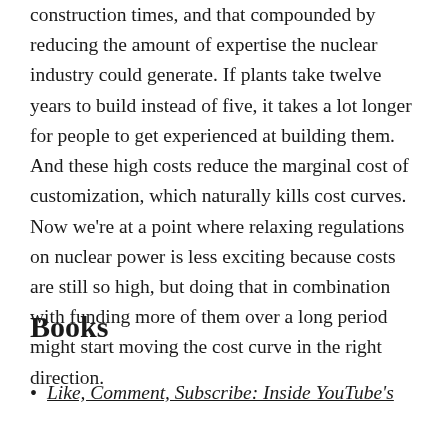construction times, and that compounded by reducing the amount of expertise the nuclear industry could generate. If plants take twelve years to build instead of five, it takes a lot longer for people to get experienced at building them. And these high costs reduce the marginal cost of customization, which naturally kills cost curves. Now we're at a point where relaxing regulations on nuclear power is less exciting because costs are still so high, but doing that in combination with funding more of them over a long period might start moving the cost curve in the right direction.
Books
Like, Comment, Subscribe: Inside YouTube's